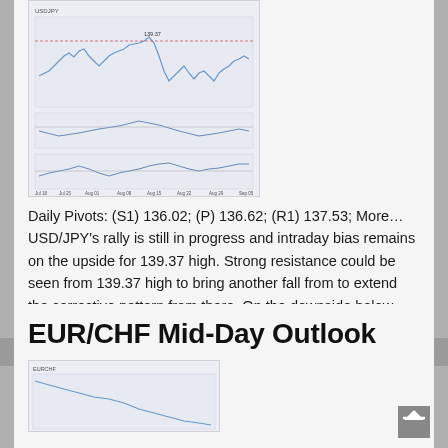[Figure (continuous-plot): USD/JPY technical analysis chart showing price action with oscillator indicators below, multi-panel chart with candlestick/line data and MACD or RSI below]
Daily Pivots: (S1) 136.02; (P) 136.62; (R1) 137.53; More… USD/JPY's rally is still in progress and intraday bias remains on the upside for 139.37 high. Strong resistance could be seen from 139.37 high to bring another fall from to extend the corrective pattern from there. On the downside below 134.61 minor support will turn intraday [...]
Posted on August 22, 2022
EUR/CHF Mid-Day Outlook
[Figure (continuous-plot): EUR/CHF technical analysis chart showing downward price movement]